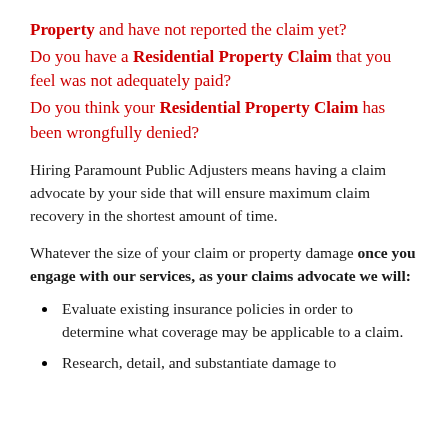Property and have not reported the claim yet? Do you have a Residential Property Claim that you feel was not adequately paid? Do you think your Residential Property Claim has been wrongfully denied?
Hiring Paramount Public Adjusters means having a claim advocate by your side that will ensure maximum claim recovery in the shortest amount of time.
Whatever the size of your claim or property damage once you engage with our services, as your claims advocate we will:
Evaluate existing insurance policies in order to determine what coverage may be applicable to a claim.
Research, detail, and substantiate damage to